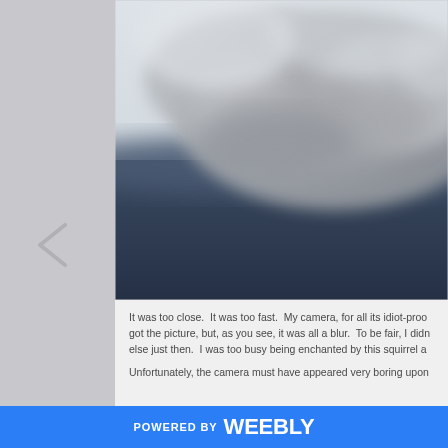[Figure (photo): A close-up blurred photograph of what appears to be a squirrel, showing fur texture with a blurred background of dark navy/blue tones. The image is very blurry and out of focus.]
It was too close.  It was too fast.  My camera, for all its idiot-proof qualities, got the picture, but, as you see, it was all a blur.  To be fair, I didn't do anything else just then.  I was too busy being enchanted by this squirrel a
Unfortunately, the camera must have appeared very boring upon
POWERED BY weebly